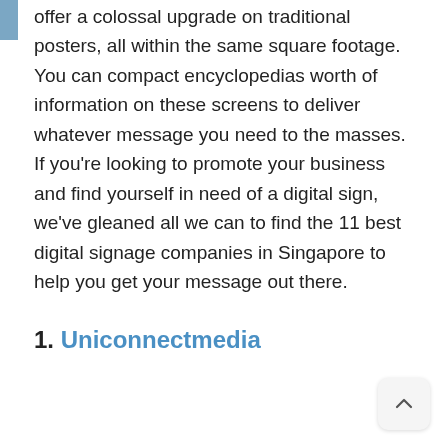offer a colossal upgrade on traditional posters, all within the same square footage. You can compact encyclopedias worth of information on these screens to deliver whatever message you need to the masses. If you're looking to promote your business and find yourself in need of a digital sign, we've gleaned all we can to find the 11 best digital signage companies in Singapore to help you get your message out there.
1. Uniconnectmedia